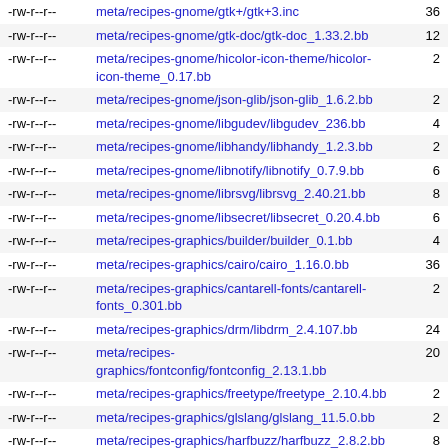| permissions | path | number |
| --- | --- | --- |
| -rw-r--r-- | meta/recipes-gnome/gtk+/gtk+3.inc | 36 |
| -rw-r--r-- | meta/recipes-gnome/gtk-doc/gtk-doc_1.33.2.bb | 12 |
| -rw-r--r-- | meta/recipes-gnome/hicolor-icon-theme/hicolor-icon-theme_0.17.bb | 2 |
| -rw-r--r-- | meta/recipes-gnome/json-glib/json-glib_1.6.2.bb | 2 |
| -rw-r--r-- | meta/recipes-gnome/libgudev/libgudev_236.bb | 4 |
| -rw-r--r-- | meta/recipes-gnome/libhandy/libhandy_1.2.3.bb | 2 |
| -rw-r--r-- | meta/recipes-gnome/libnotify/libnotify_0.7.9.bb | 6 |
| -rw-r--r-- | meta/recipes-gnome/librsvg/librsvg_2.40.21.bb | 8 |
| -rw-r--r-- | meta/recipes-gnome/libsecret/libsecret_0.20.4.bb | 6 |
| -rw-r--r-- | meta/recipes-graphics/builder/builder_0.1.bb | 4 |
| -rw-r--r-- | meta/recipes-graphics/cairo/cairo_1.16.0.bb | 36 |
| -rw-r--r-- | meta/recipes-graphics/cantarell-fonts/cantarell-fonts_0.301.bb | 2 |
| -rw-r--r-- | meta/recipes-graphics/drm/libdrm_2.4.107.bb | 24 |
| -rw-r--r-- | meta/recipes-graphics/fontconfig/fontconfig_2.13.1.bb | 20 |
| -rw-r--r-- | meta/recipes-graphics/freetype/freetype_2.10.4.bb | 2 |
| -rw-r--r-- | meta/recipes-graphics/glslang/glslang_11.5.0.bb | 2 |
| -rw-r--r-- | meta/recipes-graphics/harfbuzz/harfbuzz_2.8.2.bb | 8 |
| -rw-r--r-- | meta/recipes-graphics/igt-gpu-tools/igt-gpu-tools_git.bb | 12 |
| -rw-r--r-- | meta/recipes-graphics/jpeg/libjpeg-turbo_2.1.0.bb | 38 |
| -rw-r--r-- | meta/recipes-graphics/libepoxy/libepoxy_1.5.8.bb | 4 |